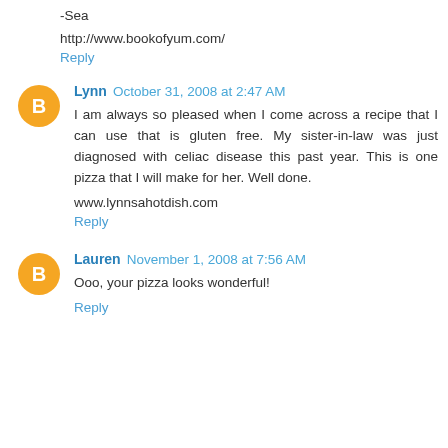-Sea
http://www.bookofyum.com/
Reply
Lynn  October 31, 2008 at 2:47 AM
I am always so pleased when I come across a recipe that I can use that is gluten free. My sister-in-law was just diagnosed with celiac disease this past year. This is one pizza that I will make for her. Well done.
www.lynnsahotdish.com
Reply
Lauren  November 1, 2008 at 7:56 AM
Ooo, your pizza looks wonderful!
Reply